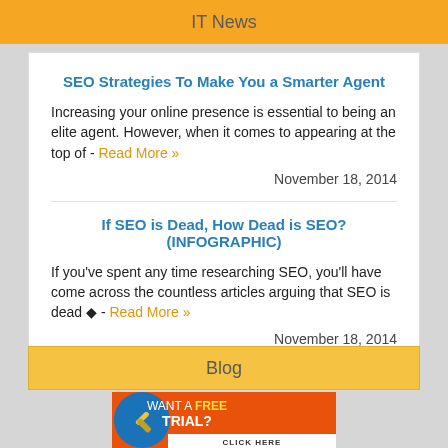IT News
SEO Strategies To Make You a Smarter Agent
Increasing your online presence is essential to being an elite agent. However, when it comes to appearing at the top of - Read More »
November 18, 2014
If SEO is Dead, How Dead is SEO? (INFOGRAPHIC)
If you’ve spent any time researching SEO, you’ll have come across the countless articles arguing that SEO is dead ◆ - Read More »
November 18, 2014
Blog
[Figure (infographic): Orange banner advertisement: Want a Free Trial? Click Here, with a blue circular tool logo on the left.]